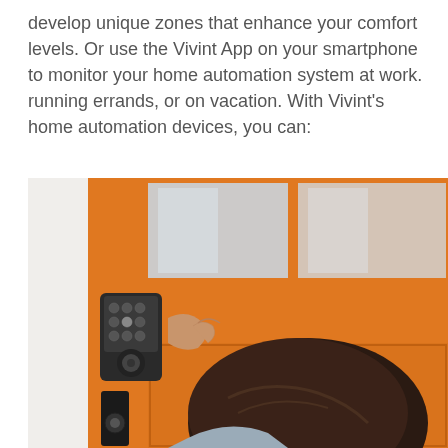develop unique zones that enhance your comfort levels. Or use the Vivint App on your smartphone to monitor your home automation system at work. running errands, or on vacation. With Vivint's home automation devices, you can:
[Figure (photo): A child pressing buttons on a smart door lock keypad mounted on an orange front door. The door has decorative glass panels at the top. A door handle and deadbolt are visible at the lower left.]